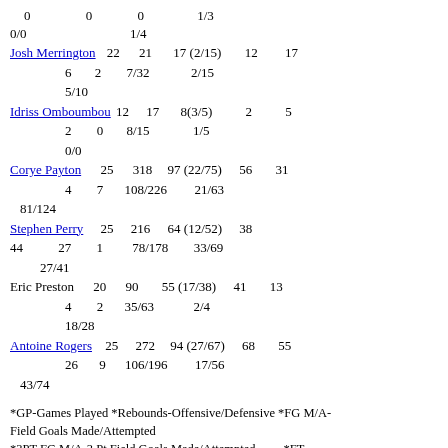0   0   0   1/3
0/0   1/4
Josh Merrington 22 21 17 (2/15) 12 17
6 2 7/32 2/15
5/10
Idriss Omboumbou 12 17 8(3/5) 2 5
2 0 8/15 1/5
0/0
Corye Payton 25 318 97 (22/75) 56 31
4 7 108/226 21/63
81/124
Stephen Perry 25 216 64 (12/52) 38 44
27 1 78/178 33/69
27/41
Eric Preston 20 90 55 (17/38) 41 13
4 2 35/63 2/4
18/28
Antoine Rogers 25 272 94 (27/67) 68 55
26 9 106/196 17/56
43/74
*GP-Games Played *Rebounds-Offensive/Defensive *FG M/A-Field Goals Made/Attempted
*3PT FG M/A-3 Pt Field Goals Made/Attempted   *FT M/A-Free Throws Made/Attempted